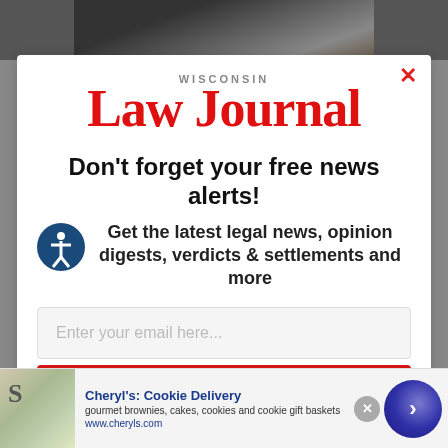[Figure (photo): Partial background photo of a person, partially obscured by modal overlay]
[Figure (logo): Wisconsin Law Journal logo in red with 'WISCONSIN' in gray above 'Law Journal' in large red serif text]
Don't forget your free news alerts!
Get the latest legal news, opinion digests, verdicts & settlements and more
Enter your email here...
SIGN UP FOR FREE
[Figure (infographic): Bottom advertisement banner for Cheryl's Cookie Delivery showing cookie/brownie image, brand name, description, URL, and a blue circular CTA button]